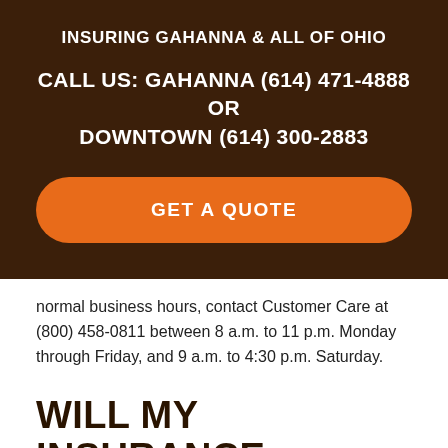INSURING GAHANNA & ALL OF OHIO
CALL US: GAHANNA (614) 471-4888 OR DOWNTOWN (614) 300-2883
GET A QUOTE
normal business hours, contact Customer Care at (800) 458-0811 between 8 a.m. to 11 p.m. Monday through Friday, and 9 a.m. to 4:30 p.m. Saturday.
WILL MY INSURANCE